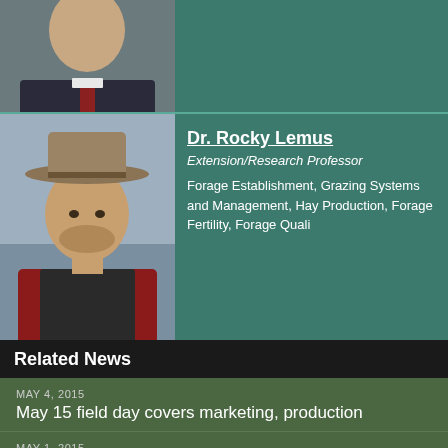[Figure (photo): Top portion of a person in a suit with a tie, photo cropped]
[Figure (photo): Photo of Dr. Rocky Lemus wearing a cowboy hat and red shirt with vest]
Dr. Rocky Lemus
Extension/Research Professor
Forage Establishment, Grazing Systems and Management, Hay Production, Forage Fertility, Forage Quali
Related News
MAY 4, 2015
May 15 field day covers marketing, production
MAY 1, 2015
Rice planting halted by frequent rains
APRIL 28, 2015
MSU alum becomes new cattle association executive